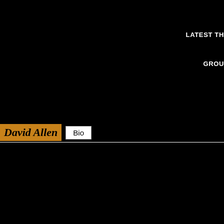LATEST TH
GROU
David Allen  Bio